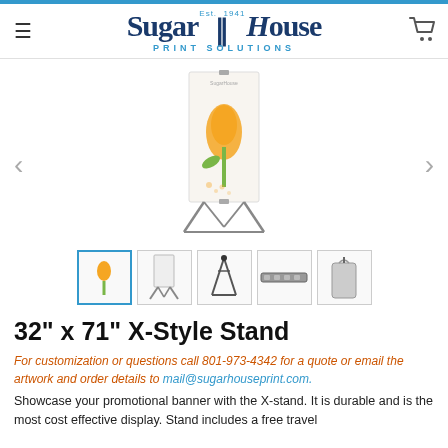SugarHouse Print Solutions — Est. 1941
[Figure (photo): Product photo of a 32" x 71" X-Style Banner Stand with an orange tulip graphic, shown assembled with legs, plus four thumbnail views showing stand components]
32" x 71" X-Style Stand
For customization or questions call 801-973-4342 for a quote or email the artwork and order details to mail@sugarhouseprint.com.
Showcase your promotional banner with the X-stand. It is durable and is the most cost effective display. Stand includes a free travel